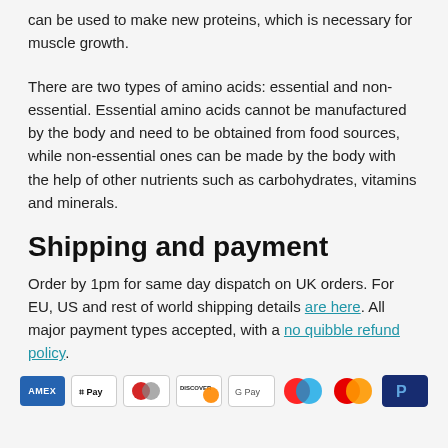can be used to make new proteins, which is necessary for muscle growth.
There are two types of amino acids: essential and non-essential. Essential amino acids cannot be manufactured by the body and need to be obtained from food sources, while non-essential ones can be made by the body with the help of other nutrients such as carbohydrates, vitamins and minerals.
Shipping and payment
Order by 1pm for same day dispatch on UK orders. For EU, US and rest of world shipping details are here. All major payment types accepted, with a no quibble refund policy.
[Figure (other): Payment method icons: American Express, Apple Pay, Diners Club, Discover, Google Pay, Maestro, Mastercard, PayPal]